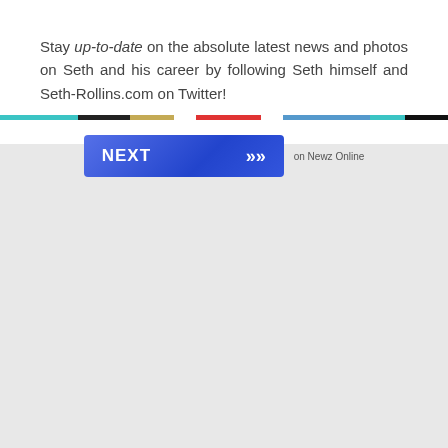Stay up-to-date on the absolute latest news and photos on Seth and his career by following Seth himself and Seth-Rollins.com on Twitter!
[Figure (other): A horizontal navigation button labeled NEXT with double chevron arrows, followed by small text 'on Newz Online']